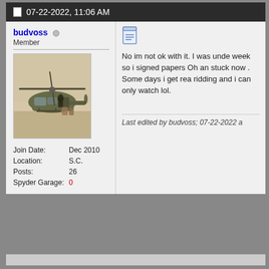07-22-2022, 11:06 AM
budvoss
Member
[Figure (photo): Vintage photograph of a military helicopter (UH-1 Huey style) on the ground, with rotor blades visible, olive drab color, faded colors suggesting old film photo.]
Join Date: Dec 2010
Location: S.C.
Posts: 26
Spyder Garage: 0
No im not ok with it. I was unde week so i signed papers Oh an stuck now . Some days i get rea ridding and i can only watch lol.
Last edited by budvoss; 07-22-2022 a